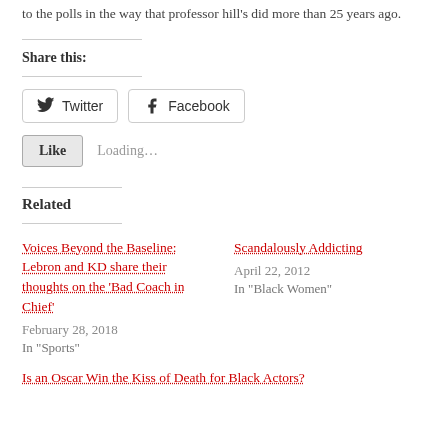to the polls in the way that professor hill's did more than 25 years ago.
Share this:
Twitter  Facebook
Like  Loading...
Related
Voices Beyond the Baseline: Lebron and KD share their thoughts on the 'Bad Coach in Chief'
February 28, 2018
In "Sports"
Scandalously Addicting
April 22, 2012
In "Black Women"
Is an Oscar Win the Kiss of Death for Black Actors?